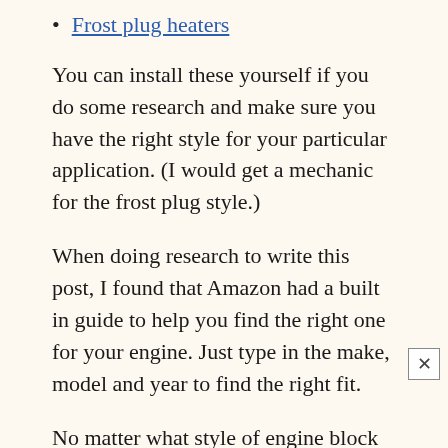Frost plug heaters
You can install these yourself if you do some research and make sure you have the right style for your particular application. (I would get a mechanic for the frost plug style.)
When doing research to write this post, I found that Amazon had a built in guide to help you find the right one for your engine. Just type in the make, model and year to find the right fit.
No matter what style of engine block heater you have, an hour should be enough to warm the engine once it is plugged in. There are timers you can purchase that can be set for an hour before you need to start your car, that